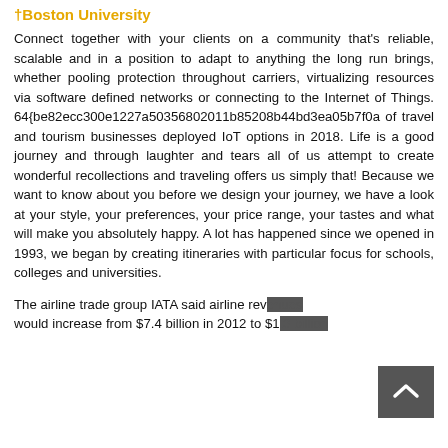†Boston University
Connect together with your clients on a community that's reliable, scalable and in a position to adapt to anything the long run brings, whether pooling protection throughout carriers, virtualizing resources via software defined networks or connecting to the Internet of Things. 64{be82ecc300e1227a50356802011b85208b44bd3ea05b7f0a of travel and tourism businesses deployed IoT options in 2018. Life is a good journey and through laughter and tears all of us attempt to create wonderful recollections and traveling offers us simply that! Because we want to know about you before we design your journey, we have a look at your style, your preferences, your price range, your tastes and what will make you absolutely happy. A lot has happened since we opened in 1993, we began by creating itineraries with particular focus for schools, colleges and universities.
The airline trade group IATA said airline revenues would increase from $7.4 billion in 2012 to $1.3 billion